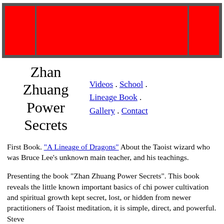[Figure (other): Red banner/header image with three red rectangular panels separated by dark gray dividers, forming a website header]
Zhan Zhuang Power Secrets
Videos . School . Lineage Book . Gallery . Contact
First Book. "A Lineage of Dragons" About the Taoist wizard who was Bruce Lee's unknown main teacher, and his teachings.
Presenting the book "Zhan Zhuang Power Secrets". This book reveals the little known important basics of chi power cultivation and spiritual growth kept secret, lost, or hidden from newer practitioners of Taoist meditation, it is simple, direct, and powerful. Steve